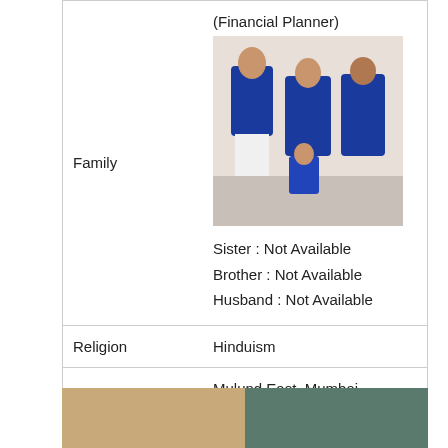|  |  |
| --- | --- |
| Family | (Financial Planner)
[family photo]
Sister : Not Available
Brother : Not Available
Husband : Not Available |
| Religion | Hinduism |
| Address | Mulund East, Mumbai, Maharashtra |
[Figure (photo): Bottom strip showing two partial photos — left is warm toned (orange/gold), right is cool toned (teal/dark green)]